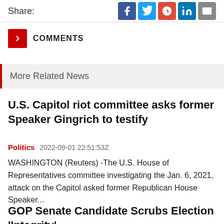Share:
COMMENTS
More Related News
U.S. Capitol riot committee asks former Speaker Gingrich to testify
Politics   2022-09-01 22:51:53Z
WASHINGTON (Reuters) -The U.S. House of Representatives committee investigating the Jan. 6, 2021, attack on the Capitol asked former Republican House Speaker...
GOP Senate Candidate Scrubs Election 'Integrity'